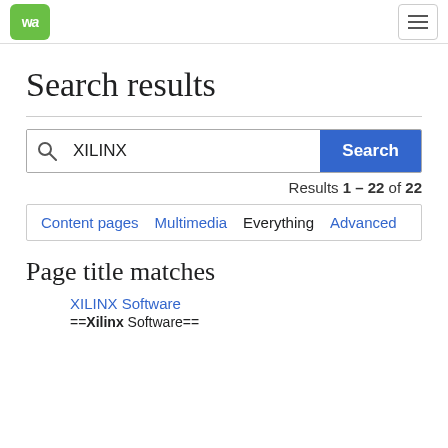WA logo + hamburger menu
Search results
XILINX [Search] Results 1 – 22 of 22
Content pages  Multimedia  Everything  Advanced
Page title matches
XILINX Software
==Xilinx Software==